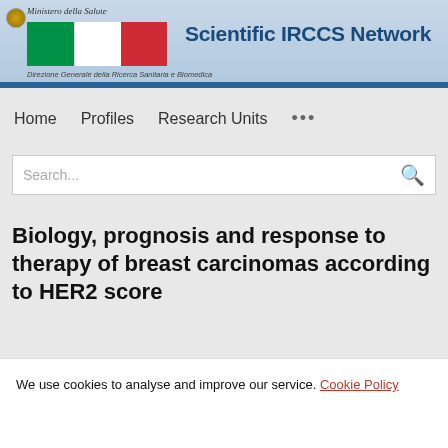[Figure (logo): Scientific IRCCS Network header with Italian Ministry of Health logo, Italian flag, and text 'Ministero della Salute' and 'Scientific IRCCS Network' and 'Direzione Generale della Ricerca Sanitaria e Biomedica']
Home   Profiles   Research Units   ...
Search...
Biology, prognosis and response to therapy of breast carcinomas according to HER2 score
We use cookies to analyse and improve our service. Cookie Policy